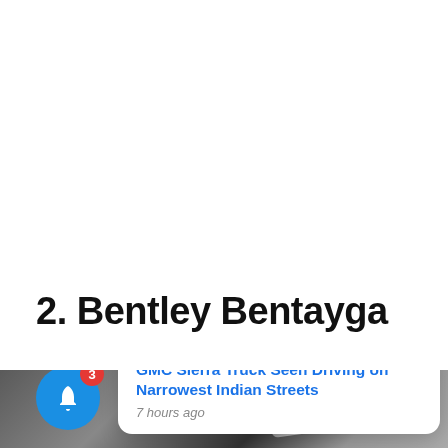2. Bentley Bentayga
[Figure (photo): Partial view of a dark-colored Bentley Bentayga SUV with a notification bell icon overlay (blue circle with white bell, red badge showing '3') and a white notification popup card showing: 'GMC Sierra Truck Seen Driving on Narrowest Indian Streets' with timestamp '7 hours ago' and a black close button with 'X'.]